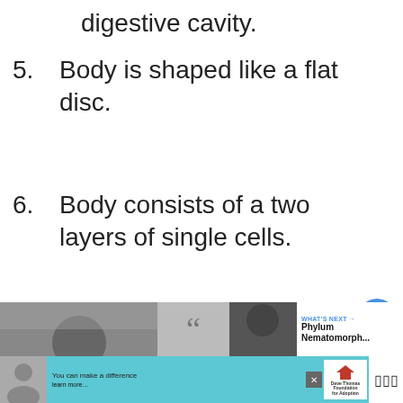digestive cavity.
5. Body is shaped like a flat disc.
6. Body consists of a two layers of single cells.
7. Live in marine environments.
[Figure (screenshot): UI overlay with heart/like button (blue circle with heart icon), count label '2', and share button]
[Figure (screenshot): Bottom content preview bar showing image thumbnails, quotation marks graphic, and 'WHAT'S NEXT' panel for Phylum Nematomorph...]
[Figure (screenshot): Advertisement bar at bottom with person photo, Dave Thomas Foundation for Adoption logo, and TV icon, on cyan/teal background]